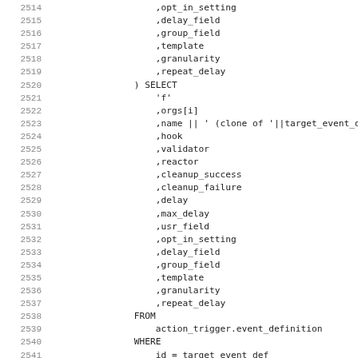Code listing lines 2514-2546 showing SQL INSERT/SELECT statement with action_trigger.event_definition table query and RAISE INFO/INSERT INTO statements